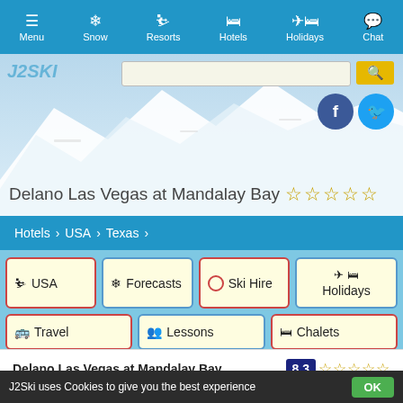Menu | Snow | Resorts | Hotels | Holidays | Chat
[Figure (screenshot): J2Ski website hero banner with snowy mountain background, logo, search bar, Facebook and Twitter social buttons]
Delano Las Vegas at Mandalay Bay ☆☆☆☆☆
Hotels > USA > Texas
USA
Forecasts
Ski Hire
Holidays
Travel
Lessons
Chalets
Delano Las Vegas at Mandalay Bay  8.3 ☆☆☆☆☆
Gallery
J2Ski uses Cookies to give you the best experience  OK